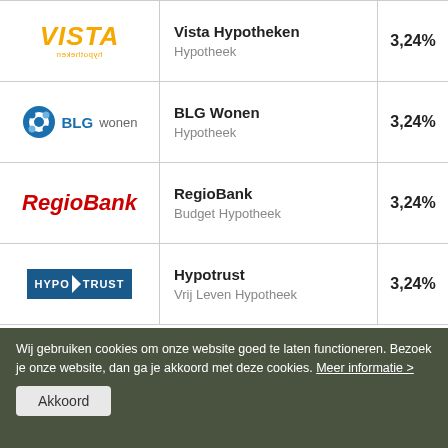| Logo | Product | Rente |
| --- | --- | --- |
| Vista Hypotheken | Vista Hypotheken
Hypotheek | 3,24% |
| BLG Wonen | BLG Wonen
Hypotheek | 3,24% |
| RegioBank | RegioBank
Budget Hypotheek | 3,24% |
| Hypotrust | Hypotrust
Vrij Leven Hypotheek | 3,24% |
Wij gebruiken cookies om onze website goed te laten functioneren. Bezoek je onze website, dan ga je akkoord met deze cookies. Meer informatie >
Akkoord